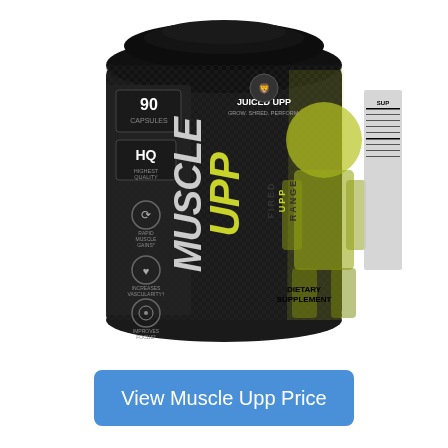[Figure (photo): Black cylindrical supplement bottle labeled 'Muscle UPP' by Juiced UPP. The bottle shows 90 capsules, HQ (Highest Quality) badge, and icons for Rapid Muscle Gains, Increases Vascularity, and Improves Focus. The label features yellow-green color accents, a muscular figure illustration, and 'FIRED UPP RANGE' text. Also shows 'DIETARY SUPPLEMENT' and 'GROW. SHRED. PERFORM.' tagline.]
View Muscle Upp Price